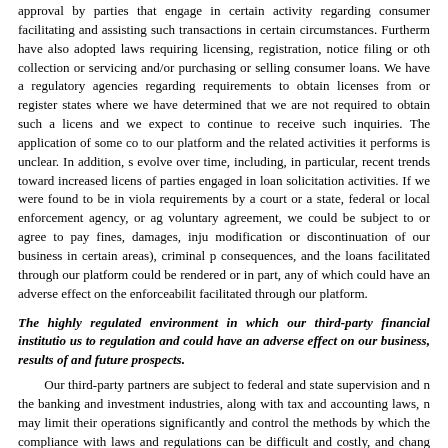approval by parties that engage in certain activity regarding consumer facilitating and assisting such transactions in certain circumstances. Furthermore, have also adopted laws requiring licensing, registration, notice filing or other collection or servicing and/or purchasing or selling consumer loans. We have a regulatory agencies regarding requirements to obtain licenses from or register states where we have determined that we are not required to obtain such a license and we expect to continue to receive such inquiries. The application of some co to our platform and the related activities it performs is unclear. In addition, s evolve over time, including, in particular, recent trends toward increased licens of parties engaged in loan solicitation activities. If we were found to be in viola requirements by a court or a state, federal or local enforcement agency, or ag voluntary agreement, we could be subject to or agree to pay fines, damages, inju modification or discontinuation of our business in certain areas), criminal p consequences, and the loans facilitated through our platform could be rendered or in part, any of which could have an adverse effect on the enforceability facilitated through our platform.
The highly regulated environment in which our third-party financial institutio us to regulation and could have an adverse effect on our business, results of and future prospects.
Our third-party partners are subject to federal and state supervision and n the banking and investment industries, along with tax and accounting laws, n may limit their operations significantly and control the methods by which the compliance with laws and regulations can be difficult and costly, and chang impose additional compliance requirements. Regulatory requirements affect o investment and virtual currency practices, among other aspects of their bus between us and our third-party partners. These requirements may constrain t